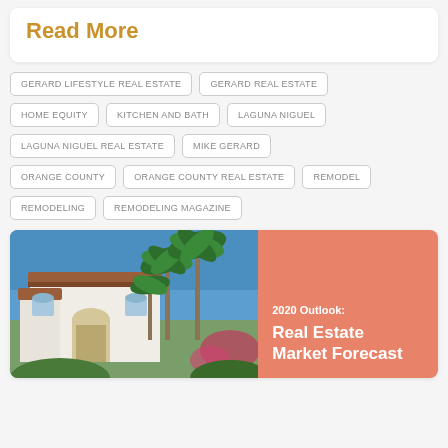Read More
GERARD LIFESTYLE REAL ESTATE
GERARD REAL ESTATE
HOME EQUITY
KITCHEN AND BATH
LAGUNA NIGUEL
LAGUNA NIGUEL REAL ESTATE
MIKE GERARD
ORANGE COUNTY
ORANGE COUNTY REAL ESTATE
REMODEL
REMODELING
REMODELING MAGAZINE
[Figure (photo): Split panel card: left side shows a photo of a white Spanish-style house with palm trees against a blue sky; right side is a salmon/coral colored panel with white text reading '2020 Outlook: Real Estate Market Forecast']